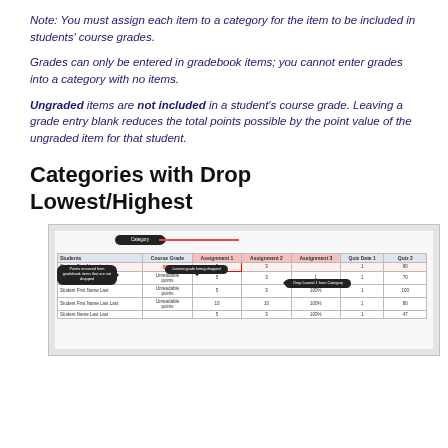Note: You must assign each item to a category for the item to be included in students' course grades.
Grades can only be entered in gradebook items; you cannot enter grades into a category with no items.
Ungraded items are not included in a student's course grade. Leaving a grade entry blank reduces the total points possible by the point value of the ungraded item for that student.
Categories with Drop Lowest/Highest
[Figure (screenshot): Screenshot of a gradebook interface showing categories with Drop Lowest/Highest feature. Callout bubbles highlight 'Category' label, points removed from gradebook items that are not dropped, lowest grade being dropped indicator, and Drop Lowest 1 from Category note. A red box highlights one grade cell. Students are listed in rows with assignment columns.]